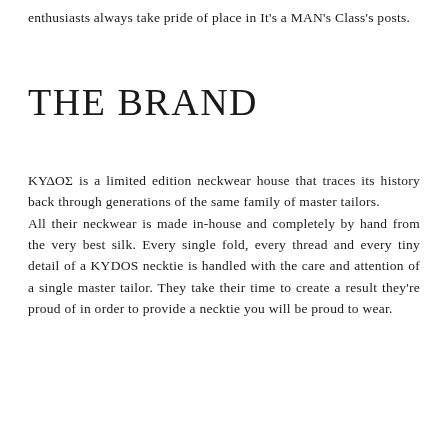enthusiasts always take pride of place in It's a MAN's Class's posts.
THE BRAND
ΚΥΔΟΣ is a limited edition neckwear house that traces its history back through generations of the same family of master tailors. All their neckwear is made in-house and completely by hand from the very best silk. Every single fold, every thread and every tiny detail of a KYDOS necktie is handled with the care and attention of a single master tailor. They take their time to create a result they're proud of in order to provide a necktie you will be proud to wear.